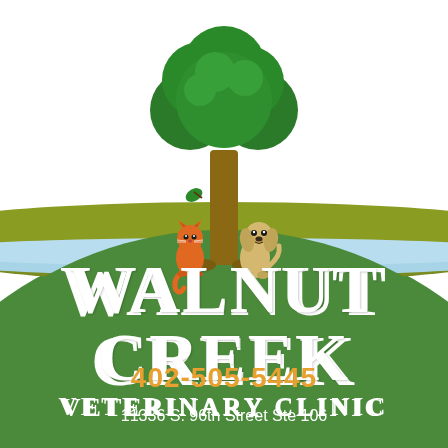[Figure (logo): Walnut Creek Veterinary Clinic logo illustration. A large green tree with a brown trunk in the center. An orange/red cat sits at the base of the tree on the left, and a golden/tan dog sits on the right. Below them is a curved landscape with an olive-green hill band and a light blue creek/water band, transitioning to a large green curved hill in the lower portion. White text reads WALNUT CREEK VETERINARY CLINIC with an orange phone number 402-505-5445 and white address 11336 S. 96th Street Ste 106.]
WALNUT CREEK VETERINARY CLINIC
402-505-5445
11336 S. 96th Street Ste 106